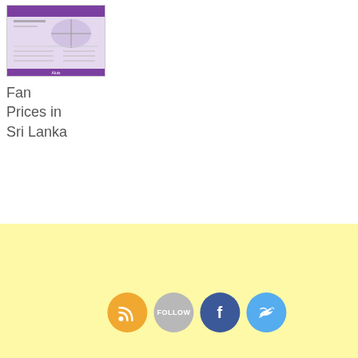[Figure (photo): Thumbnail image of a fan price list document for Sri Lanka, purple/lavender colored with fan illustrations and price tables]
Fan Prices in Sri Lanka
[Figure (infographic): Yellow/cream background section with four social media icon buttons: RSS (orange), Follow (gray), Facebook (blue), Twitter (light blue)]